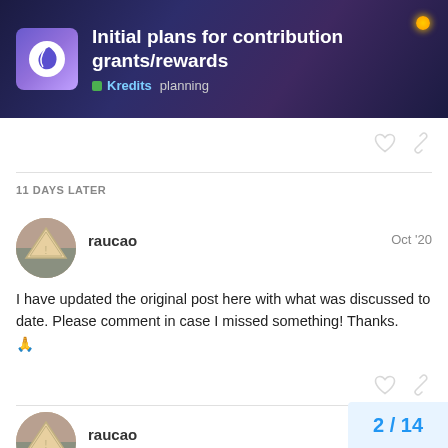Initial plans for contribution grants/rewards
Kredits  planning
11 DAYS LATER
raucao   Oct '20
I have updated the original post here with what was discussed to date. Please comment in case I missed something! Thanks. 🙏
raucao   Oct '20
There's an undocumented problem with th
2 / 14